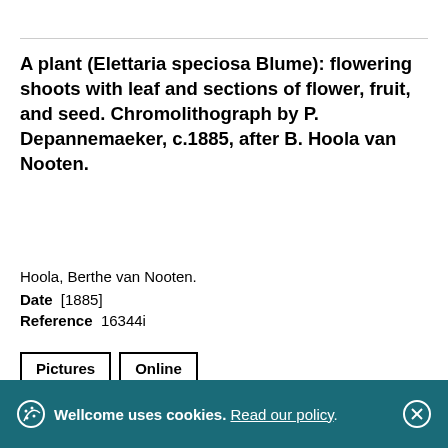A plant (Elettaria speciosa Blume): flowering shoots with leaf and sections of flower, fruit, and seed. Chromolithograph by P. Depannemaeker, c.1885, after B. Hoola van Nooten.
Hoola, Berthe van Nooten.
Date  [1885]
Reference  16344i
Pictures  Online
Wellcome uses cookies. Read our policy.